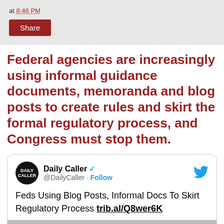at 8:46 PM
Share
Federal agencies are increasingly using informal guidance documents, memoranda and blog posts to create rules and skirt the formal regulatory process, and Congress must stop them.
[Figure (screenshot): Embedded tweet from Daily Caller (@DailyCaller) with verified badge and Follow button. Tweet text: Feds Using Blog Posts, Informal Docs To Skirt Regulatory Process trib.al/Q8wer6K. Includes a thumbnail image strip at the bottom.]